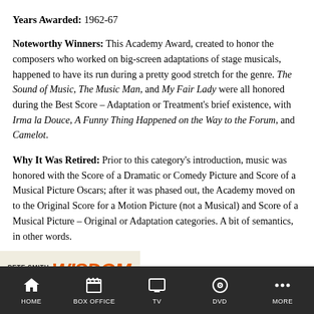Years Awarded: 1962-67
Noteworthy Winners: This Academy Award, created to honor the composers who worked on big-screen adaptations of stage musicals, happened to have its run during a pretty good stretch for the genre. The Sound of Music, The Music Man, and My Fair Lady were all honored during the Best Score – Adaptation or Treatment's brief existence, along with Irma la Douce, A Funny Thing Happened on the Way to the Forum, and Camelot.
Why It Was Retired: Prior to this category's introduction, music was honored with the Score of a Dramatic or Comedy Picture and Score of a Musical Picture Oscars; after it was phased out, the Academy moved on to the Original Score for a Motion Picture (not a Musical) and Score of a Musical Picture – Original or Adaptation categories. A bit of semantics, in other words.
[Figure (photo): Pete Smith Specialty Wisdom movie title card with orange text on yellowish background]
HOME | BOX OFFICE | TV | DVD | MORE